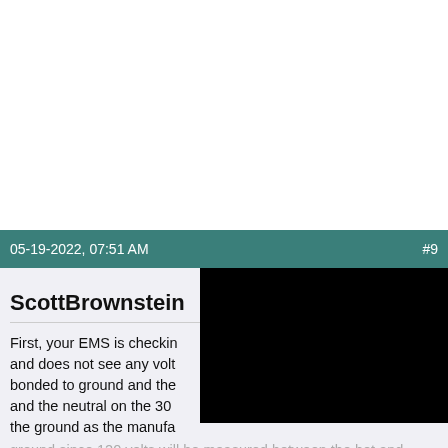05-19-2022, 07:51 AM   #9
Join Date: Jan 2015
ScottBrownstein
First, your EMS is checkin and does not see any volt bonded to ground and the and the neutral on the 30 the ground as the manufa ground since 120 volts will be measured between the hot and ground That problem fixed...now the reverse polarity. Neutral to ground handling is the responsibility of the manufacturer...